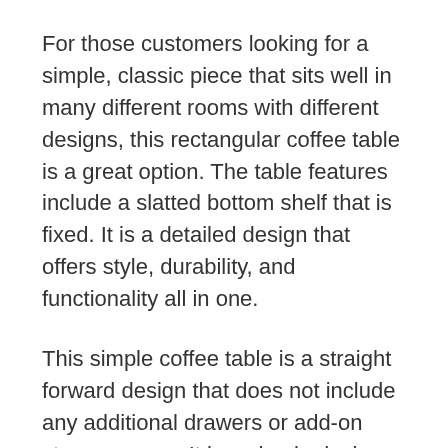For those customers looking for a simple, classic piece that sits well in many different rooms with different designs, this rectangular coffee table is a great option. The table features include a slatted bottom shelf that is fixed. It is a detailed design that offers style, durability, and functionality all in one.
This simple coffee table is a straight forward design that does not include any additional drawers or add-on storage areas. It is a simple design with necessary planks at the bottom for storage. The table is crafted from